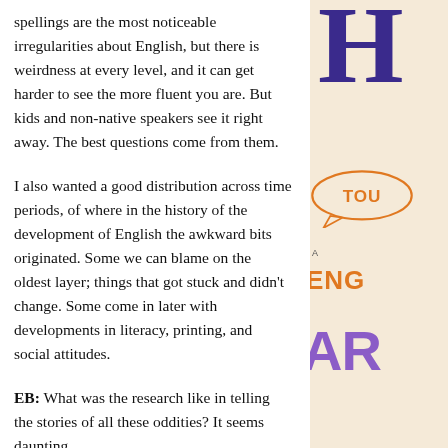spellings are the most noticeable irregularities about English, but there is weirdness at every level, and it can get harder to see the more fluent you are. But kids and non-native speakers see it right away. The best questions come from them.
I also wanted a good distribution across time periods, of where in the history of the development of English the awkward bits originated. Some we can blame on the oldest layer; things that got stuck and didn't change. Some come in later with developments in literacy, printing, and social attitudes.
EB: What was the research like in telling the stories of all these oddities? It seems daunting.
AO: There is a lot! But I could tackle each question one at a tim...
[Figure (illustration): Partial book cover visible on right side showing decorative typography with large purple letter, speech bubble with orange text 'TOU', orange text 'ENG' and purple text 'AR' on a beige/cream background]